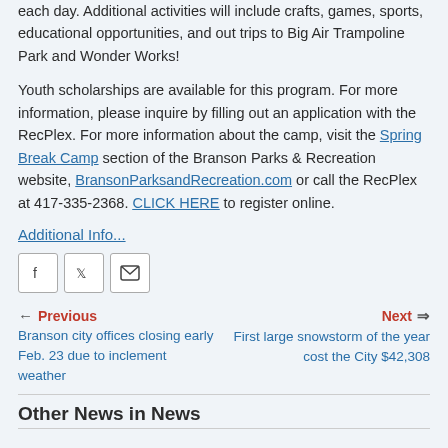each day. Additional activities will include crafts, games, sports, educational opportunities, and out trips to Big Air Trampoline Park and Wonder Works!
Youth scholarships are available for this program. For more information, please inquire by filling out an application with the RecPlex. For more information about the camp, visit the Spring Break Camp section of the Branson Parks & Recreation website, BransonParksandRecreation.com or call the RecPlex at 417-335-2368. CLICK HERE to register online.
Additional Info...
[Figure (other): Social sharing icons: Facebook, Twitter, Email]
Previous: Branson city offices closing early Feb. 23 due to inclement weather | Next: First large snowstorm of the year cost the City $42,308
Other News in News